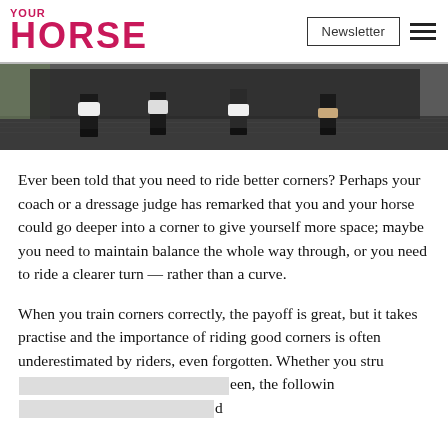YOUR HORSE | Newsletter
[Figure (photo): Close-up of horse legs with bandages/boots trotting on a dark arena surface]
Ever been told that you need to ride better corners? Perhaps your coach or a dressage judge has remarked that you and your horse could go deeper into a corner to give yourself more space; maybe you need to maintain balance the whole way through, or you need to ride a clearer turn — rather than a curve.
When you train corners correctly, the payoff is great, but it takes practise and the importance of riding good corners is often underestimated by riders, even forgotten. Whether you stru[...obscured...]een, the followin[...obscured...]d